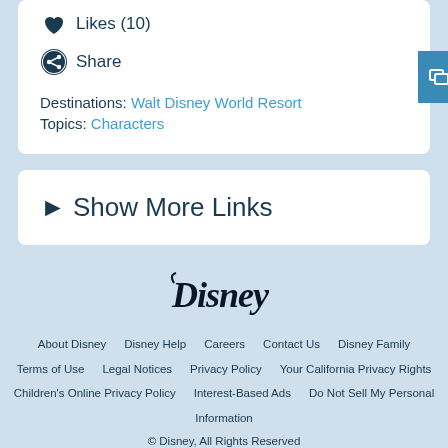Likes (10)
Share
Destinations: Walt Disney World Resort
Topics: Characters
► Show More Links
[Figure (logo): Disney logo in cursive script]
About Disney   Disney Help   Careers   Contact Us   Disney Family   Terms of Use   Legal Notices   Privacy Policy   Your California Privacy Rights   Children's Online Privacy Policy   Interest-Based Ads   Do Not Sell My Personal Information   © Disney, All Rights Reserved